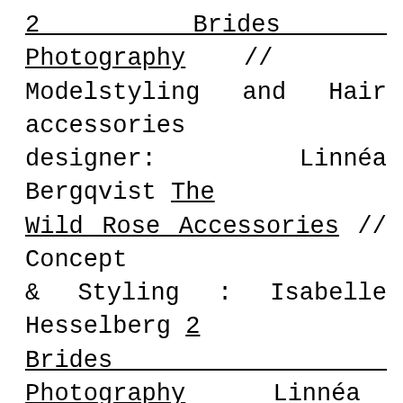2 Brides Photography // Modelstyling and Hair accessories designer: Linnéa Bergqvist The Wild Rose Accessories // Concept & Styling : Isabelle Hesselberg 2 Brides Photography Linnéa Bergqvist The Wild Rose Elin Wallmander Elins Art Studio // Make up and printed goods: Elin Wallmander Elins Art Studio // Hair and flower design: Linnéa Bergqvist The Wild Rose // Model: Filippa Järnebratt